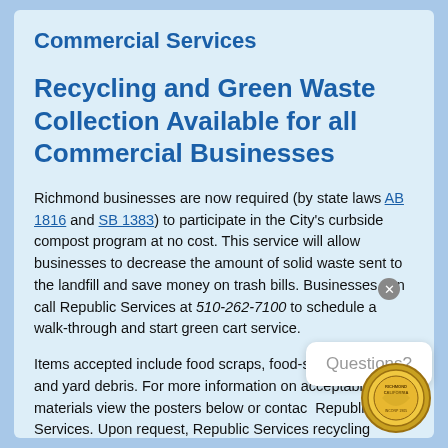Commercial Services
Recycling and Green Waste Collection Available for all Commercial Businesses
Richmond businesses are now required (by state laws AB 1816 and SB 1383) to participate in the City's curbside compost program at no cost. This service will allow businesses to decrease the amount of solid waste sent to the landfill and save money on trash bills. Businesses can call Republic Services at 510-262-7100 to schedule a walk-through and start green cart service.
Items accepted include food scraps, food-soiled and plant and yard debris. For more information on acceptable materials view the posters below or contact Republic Services. Upon request, Republic Services recycling coordinators can provide training, indoor collection bins, and service recommendations to